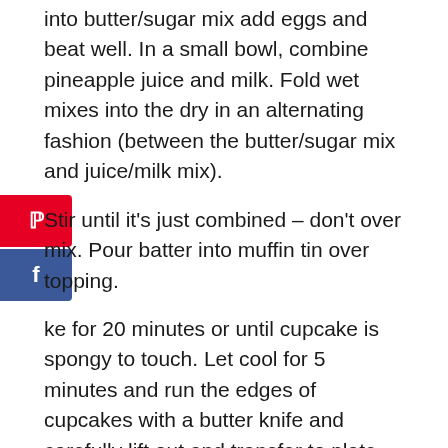into butter/sugar mix add eggs and beat well. In a small bowl, combine pineapple juice and milk. Fold wet mixes into the dry in an alternating fashion (between the butter/sugar mix and juice/milk mix).
Stir until it’s just combined – don’t over mix. Pour batter into muffin tin over topping.
ke for 20 minutes or until cupcake is spongy to touch. Let cool for 5 minutes and run the edges of cupcakes with a butter knife and carefully lift out and transfer to plate. Or carefully cover the top of cupcakes with a large cookie/baking sheet and flip/invert.
Nutrition Information
Per Serving (1 cake)